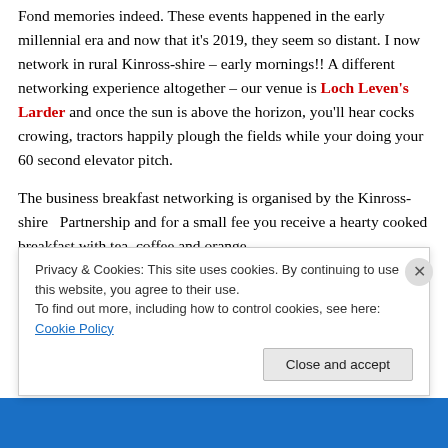Fond memories indeed.  These events happened in the early millennial era and now that it's 2019, they seem so distant.  I now network in rural Kinross-shire – early mornings!!  A different networking experience altogether – our venue is Loch Leven's Larder and once the sun is above the horizon, you'll hear cocks crowing, tractors happily plough the fields while your doing your 60 second elevator pitch.
The business breakfast networking is organised by the Kinross-shire  Partnership and for a small fee you receive a hearty cooked breakfast with tea, coffee and orange...
Privacy & Cookies: This site uses cookies. By continuing to use this website, you agree to their use.
To find out more, including how to control cookies, see here: Cookie Policy
Close and accept